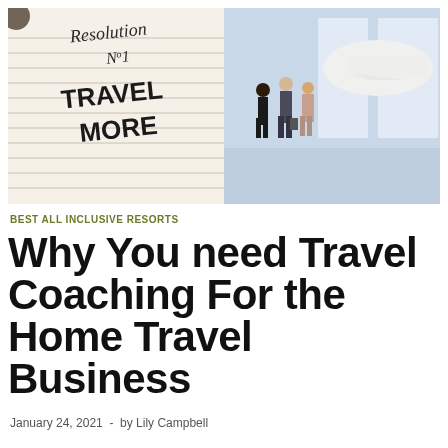[Figure (photo): Composite image: left half shows a notebook page with handwritten text 'Resolution No1 TRAVEL MORE'; right half shows business travelers walking in an airport terminal with a plane visible outside large windows.]
BEST ALL INCLUSIVE RESORTS
Why You need Travel Coaching For the Home Travel Business
January 24, 2021  -  by Lily Campbell